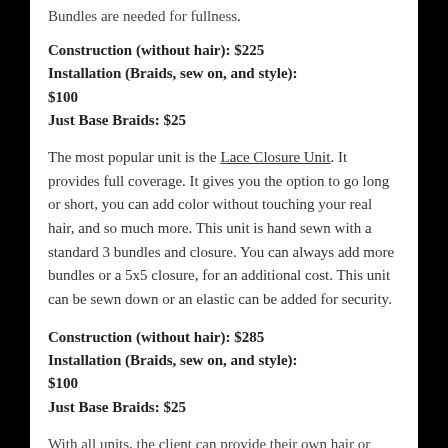Bundles are needed for fullness.
Construction (without hair): $225
Installation (Braids, sew on, and style): $100
Just Base Braids: $25
The most popular unit is the Lace Closure Unit. It provides full coverage. It gives you the option to go long or short, you can add color without touching your real hair, and so much more. This unit is hand sewn with a standard 3 bundles and closure. You can always add more bundles or a 5x5 closure, for an additional cost. This unit can be sewn down or an elastic can be added for security.
Construction (without hair): $285
Installation (Braids, sew on, and style): $100
Just Base Braids: $25
With all units, the client can provide their own hair or inquire about purchasing hair from the salon. We also provide coloring...